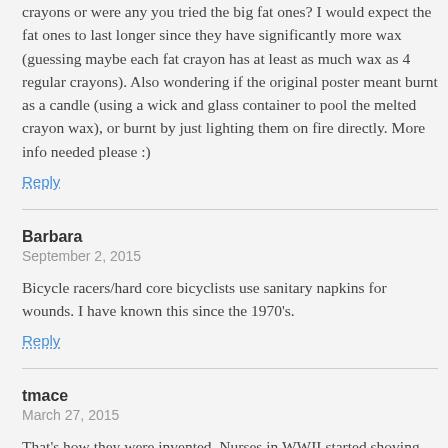crayons or were any you tried the big fat ones? I would expect the fat ones to last longer since they have significantly more wax (guessing maybe each fat crayon has at least as much wax as 4 regular crayons). Also wondering if the original poster meant burnt as a candle (using a wick and glass container to pool the melted crayon wax), or burnt by just lighting them on fire directly. More info needed please :)
Reply
Barbara
September 2, 2015
Bicycle racers/hard core bicyclists use sanitary napkins for wounds. I have known this since the 1970's.
Reply
tmace
March 27, 2015
That's how they were invented. Nurses in WWII started shoving the cotton “bullet plugs”